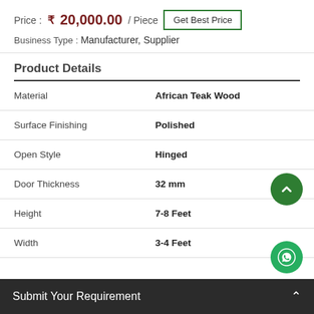Price : ₹ 20,000.00 / Piece | Get Best Price
Business Type : Manufacturer, Supplier
Product Details
| Property | Value |
| --- | --- |
| Material | African Teak Wood |
| Surface Finishing | Polished |
| Open Style | Hinged |
| Door Thickness | 32 mm |
| Height | 7-8 Feet |
| Width | 3-4 Feet |
Submit Your Requirement